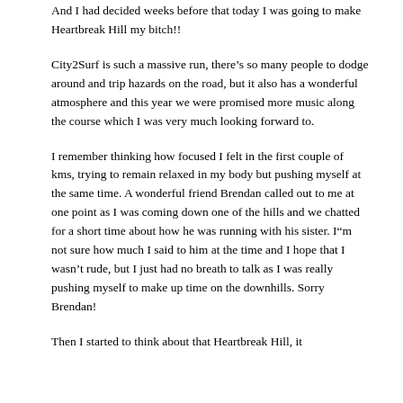And I had decided weeks before that today I was going to make Heartbreak Hill my bitch!!
City2Surf is such a massive run, there’s so many people to dodge around and trip hazards on the road, but it also has a wonderful atmosphere and this year we were promised more music along the course which I was very much looking forward to.
I remember thinking how focused I felt in the first couple of kms, trying to remain relaxed in my body but pushing myself at the same time. A wonderful friend Brendan called out to me at one point as I was coming down one of the hills and we chatted for a short time about how he was running with his sister. I“m not sure how much I said to him at the time and I hope that I wasn’t rude, but I just had no breath to talk as I was really pushing myself to make up time on the downhills. Sorry Brendan!
Then I started to think about that Heartbreak Hill, it